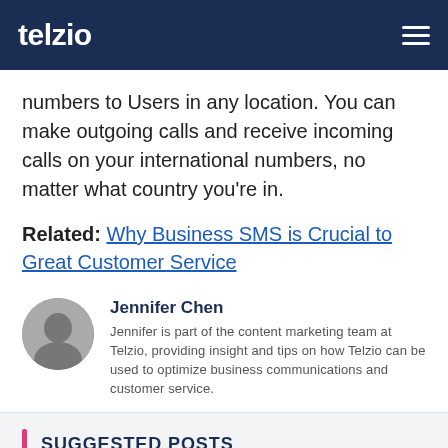telzio
numbers to Users in any location. You can make outgoing calls and receive incoming calls on your international numbers, no matter what country you're in.
Related: Why Business SMS is Crucial to Great Customer Service
Jennifer Chen
Jennifer is part of the content marketing team at Telzio, providing insight and tips on how Telzio can be used to optimize business communications and customer service.
SUGGESTED POSTS